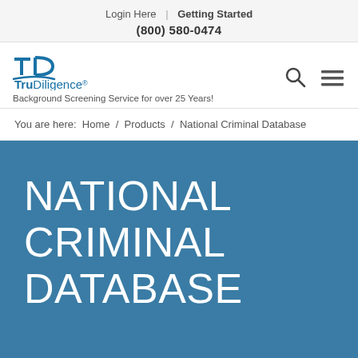Login Here | Getting Started
(800) 580-0474
[Figure (logo): TruDiligence logo with stylized TD icon and text 'TruDiligence' with registered trademark symbol. Tagline: Background Screening Service for over 25 Years!]
You are here:  Home  /  Products  /  National Criminal Database
NATIONAL CRIMINAL DATABASE